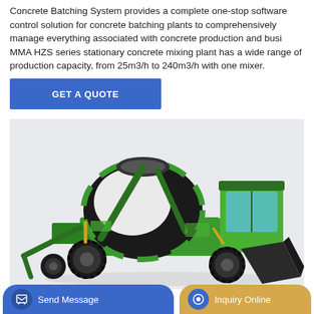Concrete Batching System provides a complete one-stop software control solution for concrete batching plants to comprehensively manage everything associated with concrete production and busi MMA HZS series stationary concrete mixing plant has a wide range of production capacity, from 25m3/h to 240m3/h with one mixer.
GET A QUOTE
[Figure (photo): Green self-loading concrete mixer truck with white mixing drum, operator cab, and large front-loading scoop bucket on a light grey background.]
Send Message
Inquiry Online